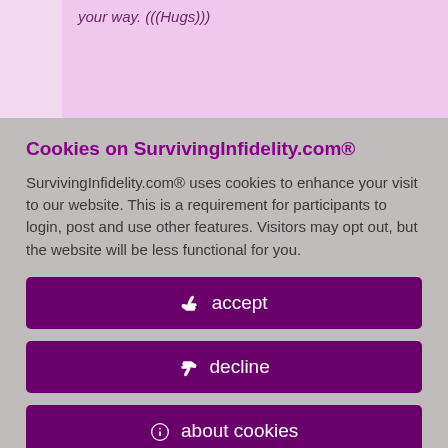your way. (((Hugs)))
on till morning.
id 7726762
y, December 12th,
ggy!!!
ve thoughts
Cookies on SurvivingInfidelity.com®
SurvivingInfidelity.com® uses cookies to enhance your visit to our website. This is a requirement for participants to login, post and use other features. Visitors may opt out, but the website will be less functional for you.
accept
decline
about cookies
Policy